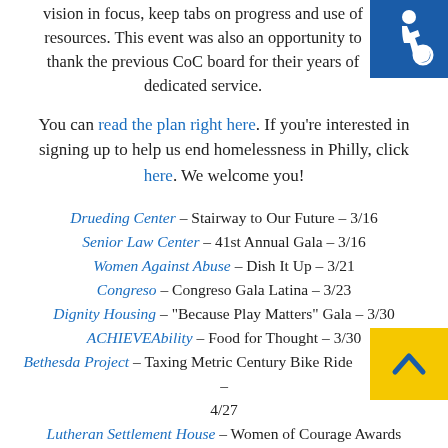[Figure (illustration): Blue accessibility wheelchair icon in top-right corner]
vision in focus, keep tabs on progress and use of resources. This event was also an opportunity to thank the previous CoC board for their years of dedicated service.
You can read the plan right here. If you’re interested in signing up to help us end homelessness in Philly, click here. We welcome you!
Drueding Center – Stairway to Our Future – 3/16
Senior Law Center – 41st Annual Gala – 3/16
Women Against Abuse – Dish It Up – 3/21
Congreso – Congreso Gala Latina – 3/23
Dignity Housing – “Because Play Matters” Gala – 3/30
ACHIEVEAbility – Food for Thought – 3/30
Bethesda Project – Taxing Metric Century Bike Ride – 4/27
Lutheran Settlement House – Women of Courage Awards Ceremony – 5/8
[Figure (illustration): Yellow back-to-top button with blue chevron arrow in bottom-right corner]